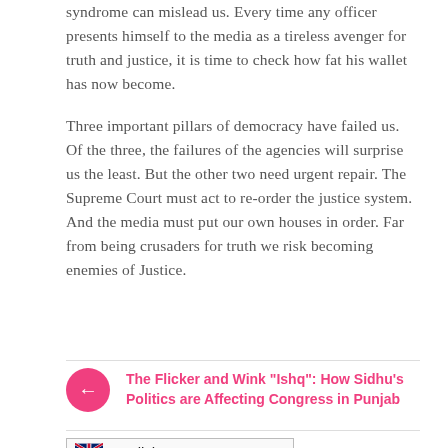syndrome can mislead us. Every time any officer presents himself to the media as a tireless avenger for truth and justice, it is time to check how fat his wallet has now become.
Three important pillars of democracy have failed us. Of the three, the failures of the agencies will surprise us the least. But the other two need urgent repair. The Supreme Court must act to re-order the justice system. And the media must put our own houses in order. Far from being crusaders for truth we risk becoming enemies of Justice.
The Flicker and Wink "Ishq": How Sidhu's Politics are Affecting Congress in Punjab
English